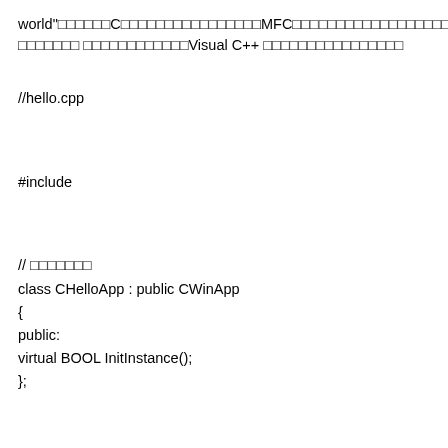world"□□□□□□C□□□□□□□□□□□□□□□□MFC□□□□□□□□□□□□□□□□□□□□□□□□□□□□□□□□□□□□□□□ □□□□□□□ □□□□□□□□□□□□Visual C++ □□□□□□□□□□□□□□□□
//hello.cpp
#include
// □□□□□□□
class CHelloApp : public CWinApp
{
public:
virtual BOOL InitInstance();
};
// □□□□□□□□□□
CHelloApp HelloApp;
// □□□□□□
class CHelloWindow : public CFrameWnd
{